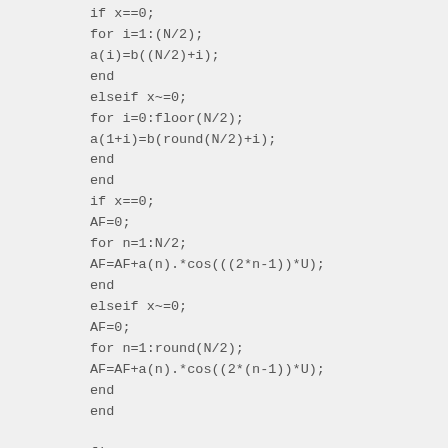if x==0;
for i=1:(N/2);
a(i)=b((N/2)+i);
end
elseif x~=0;
for i=0:floor(N/2);
a(1+i)=b(round(N/2)+i);
end
end
if x==0;
AF=0;
for n=1:N/2;
AF=AF+a(n).*cos(((2*n-1))*U);
end
elseif x~=0;
AF=0;
for n=1:round(N/2);
AF=AF+a(n).*cos((2*(n-1))*U);
end
end

figure